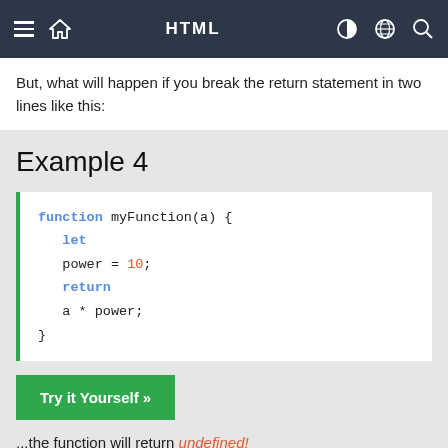HTML
But, what will happen if you break the return statement in two lines like this:
Example 4
[Figure (screenshot): Code block showing a JavaScript function with syntax highlighting: function myFunction(a) { let power = 10; return a * power; }]
Try it Yourself »
...the function will return undefined!